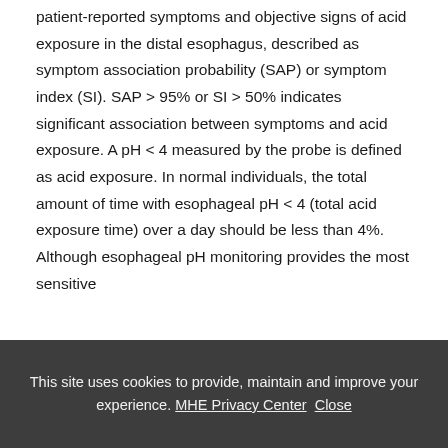patient-reported symptoms and objective signs of acid exposure in the distal esophagus, described as symptom association probability (SAP) or symptom index (SI). SAP > 95% or SI > 50% indicates significant association between symptoms and acid exposure. A pH < 4 measured by the probe is defined as acid exposure. In normal individuals, the total amount of time with esophageal pH < 4 (total acid exposure time) over a day should be less than 4%. Although esophageal pH monitoring provides the most sensitive
This site uses cookies to provide, maintain and improve your experience. MHE Privacy Center  Close